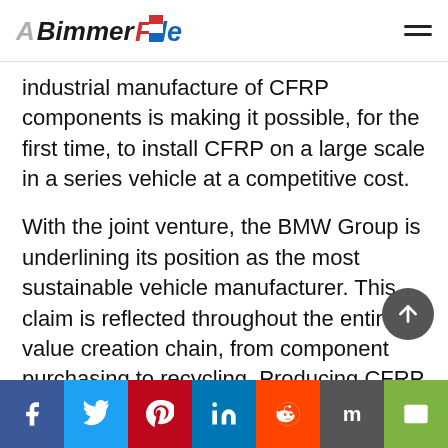BimmerFile
industrial manufacture of CFRP components is making it possible, for the first time, to install CFRP on a large scale in a series vehicle at a competitive cost.
With the joint venture, the BMW Group is underlining its position as the most sustainable vehicle manufacturer. This claim is reflected throughout the entire value creation chain, from component purchasing to recycling. Producing CFRP in a way that protects resources is therefore a high priority. The high energy requirement for the production of carbon fibres is to be met completely by environmentally friendly hydropower. This is one of the preconditions for the production site of carbon fibres in North America. The